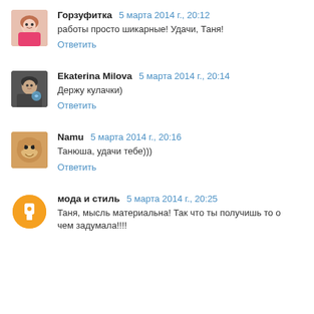Горзуфитка 5 марта 2014 г., 20:12
работы просто шикарные! Удачи, Таня!
Ответить
Ekaterina Milova 5 марта 2014 г., 20:14
Держу кулачки)
Ответить
Namu 5 марта 2014 г., 20:16
Танюша, удачи тебе)))
Ответить
мода и стиль 5 марта 2014 г., 20:25
Таня, мысль материальна! Так что ты получишь то о чем задумала!!!!